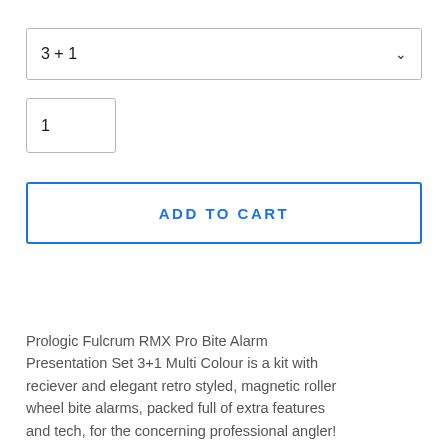3 + 1
1
ADD TO CART
Prologic Fulcrum RMX Pro Bite Alarm Presentation Set 3+1 Multi Colour is a kit with reciever and elegant retro styled, magnetic roller wheel bite alarms, packed full of extra features and tech, for the concerning professional angler!